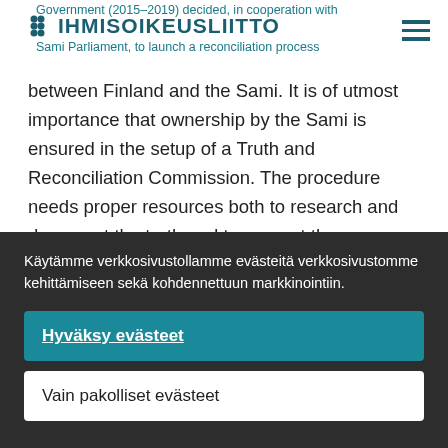IHMISOIKEUSLIITTO
Government (2015–2019) decided, in cooperation with the Sami Parliament, to launch a reconciliation process between Finland and the Sami. It is of utmost importance that ownership by the Sami is ensured in the setup of a Truth and Reconciliation Commission. The procedure needs proper resources both to research and document the truth and to support the community with regard to
Käytämme verkkosivustollamme evästeitä verkkosivustomme kehittämiseen sekä kohdennettuun markkinointiin.
Hyväksy evästeet
Vain pakolliset evästeet